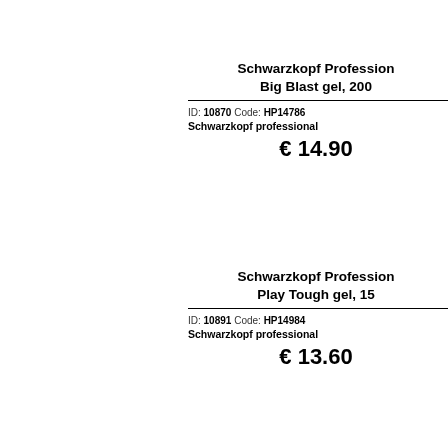Schwarzkopf Professional Big Blast gel, 200
ID: 10870 Code: HP14786 Schwarzkopf professional
€ 14.90
Schwarzkopf Professional Play Tough gel, 15
ID: 10891 Code: HP14984 Schwarzkopf professional
€ 13.60